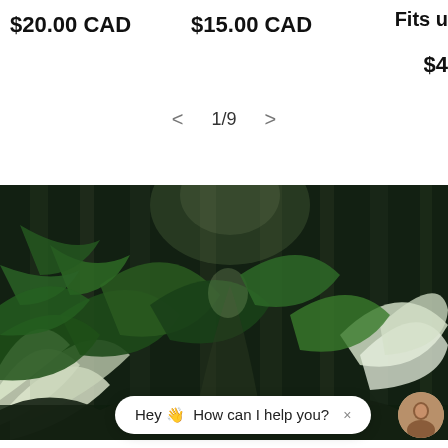$20.00 CAD
$15.00 CAD
Fits u
$4
1/9
[Figure (photo): Dense tropical jungle scene with lush green foliage, large white tropical leaves, tall tree trunks, and a path through dense vegetation]
Hey 👋 How can I help you? ×